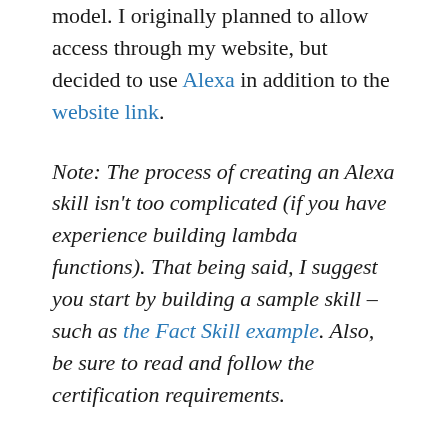model. I originally planned to allow access through my website, but decided to use Alexa in addition to the website link.
Note: The process of creating an Alexa skill isn't too complicated (if you have experience building lambda functions). That being said, I suggest you start by building a sample skill – such as the Fact Skill example. Also, be sure to read and follow the certification requirements.
Alexa, AWS, and the exposed Fitbit APIs provided a mechanism to build a model and return results for a specific user – all initiated by voice.
Step 4: Linking the user's Fitbit account to